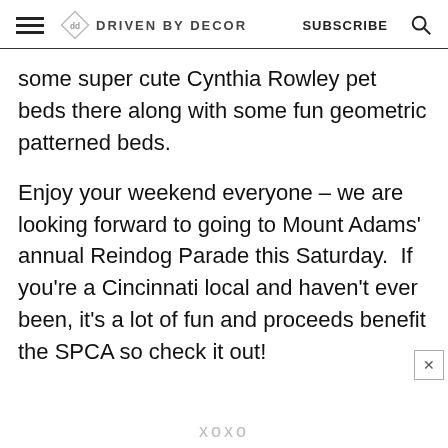DRIVEN BY DECOR   SUBSCRIBE
some super cute Cynthia Rowley pet beds there along with some fun geometric patterned beds.
Enjoy your weekend everyone – we are looking forward to going to Mount Adams' annual Reindog Parade this Saturday.  If you're a Cincinnati local and haven't ever been, it's a lot of fun and proceeds benefit the SPCA so check it out!
xoxo